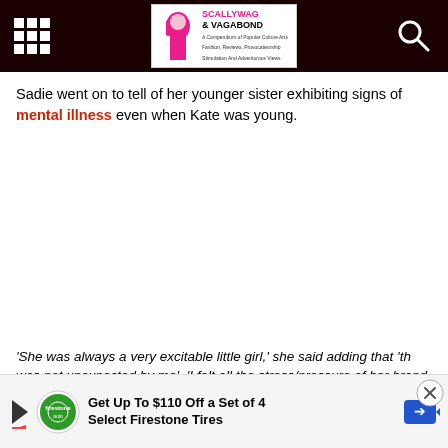Scallywag & Vagabond
Sadie went on to tell of her younger sister exhibiting signs of mental illness even when Kate was young.
'She was always a very excitable little girl,' she said adding that 'th was not unexpected by me'. 'I felt all the stress/pressure of her brand (KS) may me full-on manic
Get Up To $110 Off a Set of 4 Select Firestone Tires